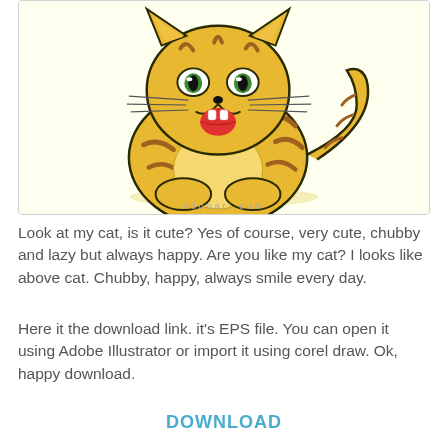[Figure (illustration): Cartoon chubby happy cat illustration with yellow/orange striped fur, sitting pose, tongue out, smiling. Watermark: ndopart.com at the bottom of the image.]
Look at my cat, is it cute? Yes of course, very cute, chubby and lazy but always happy. Are you like my cat? I looks like above cat. Chubby, happy, always smile every day.
Here it the download link. it's EPS file. You can open it using Adobe Illustrator or import it using corel draw. Ok, happy download.
DOWNLOAD